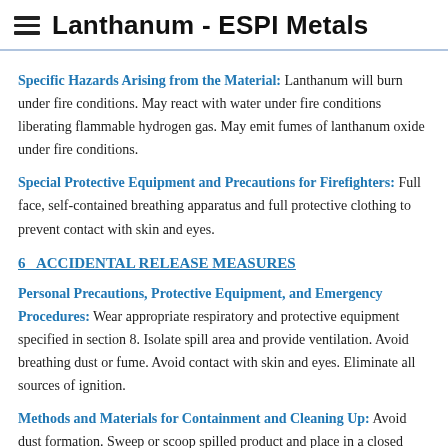Lanthanum - ESPI Metals
Specific Hazards Arising from the Material: Lanthanum will burn under fire conditions. May react with water under fire conditions liberating flammable hydrogen gas. May emit fumes of lanthanum oxide under fire conditions.
Special Protective Equipment and Precautions for Firefighters: Full face, self-contained breathing apparatus and full protective clothing to prevent contact with skin and eyes.
6   ACCIDENTAL RELEASE MEASURES
Personal Precautions, Protective Equipment, and Emergency Procedures: Wear appropriate respiratory and protective equipment specified in section 8. Isolate spill area and provide ventilation. Avoid breathing dust or fume. Avoid contact with skin and eyes. Eliminate all sources of ignition.
Methods and Materials for Containment and Cleaning Up: Avoid dust formation. Sweep or scoop spilled product and place in a closed container for further handling and